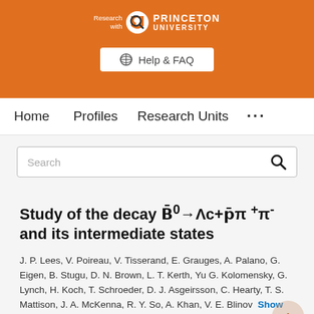Research with Princeton University — Help & FAQ
Home   Profiles   Research Units   ...
Search
Study of the decay B̄0→Λc+p̄π+π- and its intermediate states
J. P. Lees, V. Poireau, V. Tisserand, E. Grauges, A. Palano, G. Eigen, B. Stugu, D. N. Brown, L. T. Kerth, Yu G. Kolomensky, G. Lynch, H. Koch, T. Schroeder, D. J. Asgeirsson, C. Hearty, T. S. Mattison, J. A. McKenna, R. Y. So, A. Khan, V. E. Blinov Show 334 others